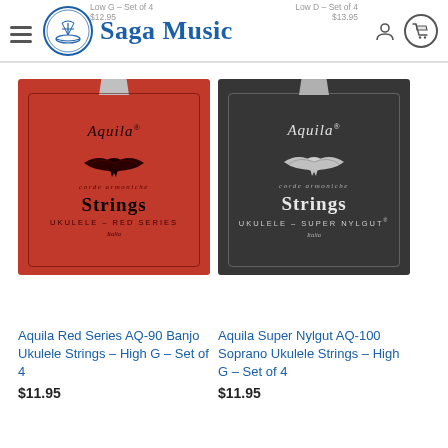Saga Music
Low G – Set of 4
$12.95
Low D – Set of 4
$13.95
[Figure (photo): Aquila Red Series ukulele strings product packaging – red background with eagle logo and text 'Aquila Strings Ukulele – Red Series']
[Figure (photo): Aquila Super Nylgut ukulele strings product packaging – dark/black background with eagle logo and text 'Aquila Strings Ukulele – Super Nylgut']
Aquila Red Series AQ-90 Banjo Ukulele Strings – High G – Set of 4
$11.95
Aquila Super Nylgut AQ-100 Soprano Ukulele Strings – High G – Set of 4
$11.95